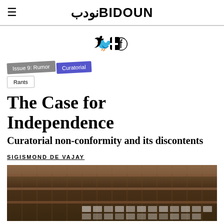BIDOUN
[Figure (other): Twitter and Facebook social share icons]
Issue 9: Rumor  Curatorial  Rants
The Case for Independence
Curatorial non-conformity and its discontents
SIGISMOND DE VAJAY
[Figure (photo): Interior photo showing metal shelving or grid structure with industrial ceiling, dark warm tones]